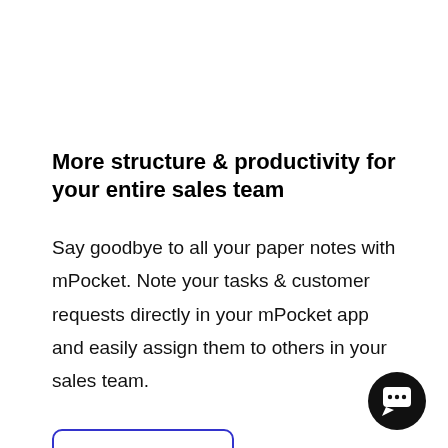More structure & productivity for your entire sales team
Say goodbye to all your paper notes with mPocket. Note your tasks & customer requests directly in your mPocket app and easily assign them to others in your sales team.
Read more